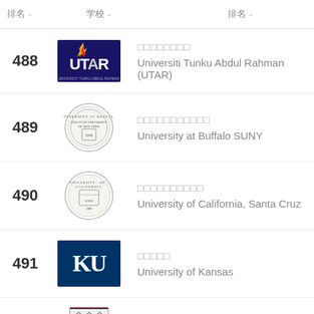排名 / 学校 / 排名
488 - Universiti Tunku Abdul Rahman (UTAR)
489 - University at Buffalo SUNY
490 - University of California, Santa Cruz
491 - University of Kansas
492 - University of Leicester